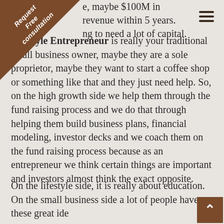e, maybe $100M in revenue within 5 years. ng to need a lot of capital.
[Figure (other): Corner badge / ribbon graphic reading 'Request Free consultation' in white italic bold text on a brown triangular background in the top-left corner]
The Lifestyle Entrepreneur is really your traditional small business owner, maybe they are a sole proprietor, maybe they want to start a coffee shop or something like that and they just need help. So, on the high growth side we help them through the fund raising process and we do that through helping them build business plans, financial modeling, investor decks and we coach them on the fund raising process because as an entrepreneur we think certain things are important and investors almost think the exact opposite.
On the lifestyle side, it is really about education. On the small business side a lot of people have these great ideas and...